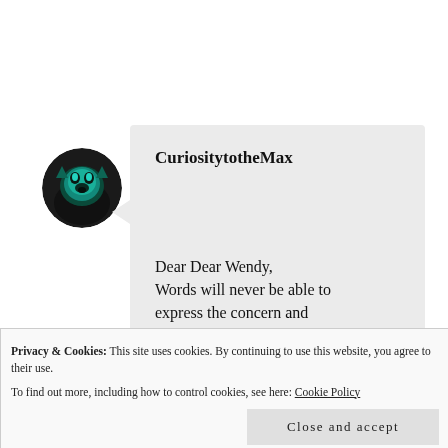[Figure (photo): Circular avatar image of an animal (appears to be a cat or small mammal) with greenish teal lighting against a dark background]
CuriositytotheMax
Dear Dear Wendy,
Words will never be able to express the concern and sorrow I feel for all you go
creative spirit and talents.
Privacy & Cookies: This site uses cookies. By continuing to use this website, you agree to their use.
To find out more, including how to control cookies, see here: Cookie Policy
Close and accept